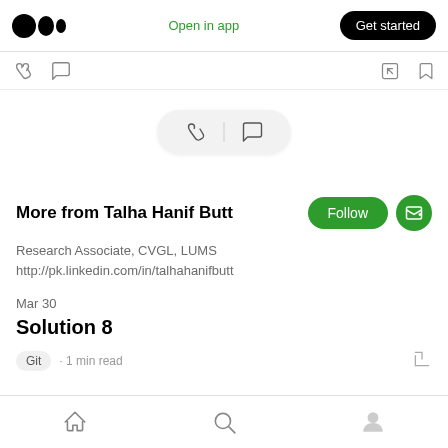Medium logo | Open in app | Get started
[Figure (screenshot): Icon bar with clap and comment icons on left, share and bookmark on right]
[Figure (screenshot): Floating pill with clap and comment icons]
More from Talha Hanif Butt
Research Associate, CVGL, LUMS
http://pk.linkedin.com/in/talhahanifbutt
Mar 30
Solution 8
Git · 1 min read
Home | Search | Profile